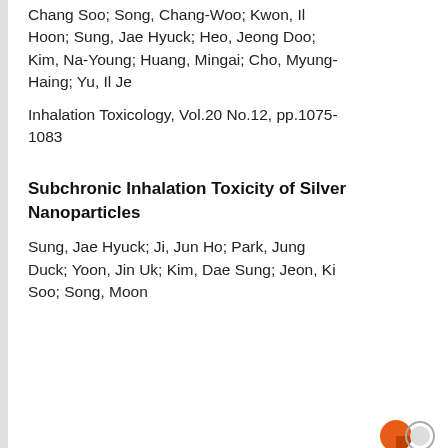Chang Soo; Song, Chang-Woo; Kwon, Il Hoon; Sung, Jae Hyuck; Heo, Jeong Doo; Kim, Na-Young; Huang, Mingai; Cho, Myung-Haing; Yu, Il Je
Inhalation Toxicology, Vol.20 No.12, pp.1075-1083
Subchronic Inhalation Toxicity of Silver Nanoparticles
Sung, Jae Hyuck; Ji, Jun Ho; Park, Jung Duck; Yoon, Jin Uk; Kim, Dae Sung; Jeon, Ki Soo; Song, Moon